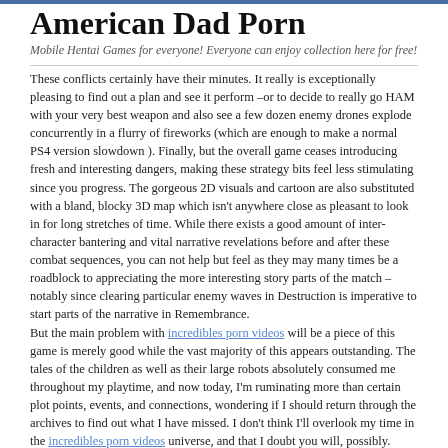American Dad Porn
Mobile Hentai Games for everyone! Everyone can enjoy collection here for free!
These conflicts certainly have their minutes. It really is exceptionally pleasing to find out a plan and see it perform –or to decide to really go HAM with your very best weapon and also see a few dozen enemy drones explode concurrently in a flurry of fireworks (which are enough to make a normal PS4 version slowdown ). Finally, but the overall game ceases introducing fresh and interesting dangers, making these strategy bits feel less stimulating since you progress. The gorgeous 2D visuals and cartoon are also substituted with a bland, blocky 3D map which isn't anywhere close as pleasant to look in for long stretches of time. While there exists a good amount of inter-character bantering and vital narrative revelations before and after these combat sequences, you can not help but feel as they may many times be a roadblock to appreciating the more interesting story parts of the match –notably since clearing particular enemy waves in Destruction is imperative to start parts of the narrative in Remembrance.
But the main problem with incredibles porn videos will be a piece of this game is merely good while the vast majority of this appears outstanding. The tales of the children as well as their large robots absolutely consumed me throughout my playtime, and now today, I'm ruminating more than certain plot points, events, and connections, wondering if I should return through the archives to find out what I have missed. I don't think I'll overlook my time in the incredibles porn videos universe, and that I doubt you will, possibly.
This entry was posted in Uncategorized . Bookmark the permalink.
← A story of love and war machines.
The game that informs a tense, absorbing puzzle by means of exquisitely minimalist means. →
Categories